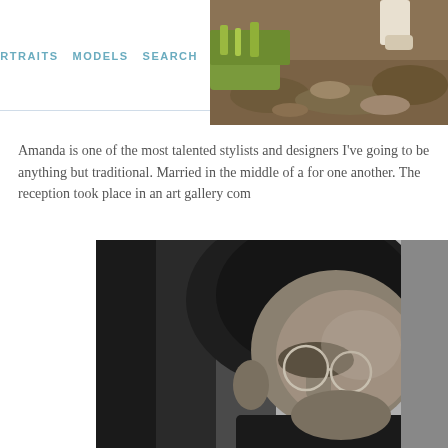WEDDINGS  PORTRAITS  MODELS  SEARCH
[Figure (photo): Outdoor nature photo showing grass and rocky ground, partially visible at top right]
Amanda is one of the most talented stylists and designers I've going to be anything but traditional. Married in the middle of a for one another. The reception took place in an art gallery com
[Figure (photo): Black and white close-up portrait of a man wearing round glasses, in profile/three-quarter view]